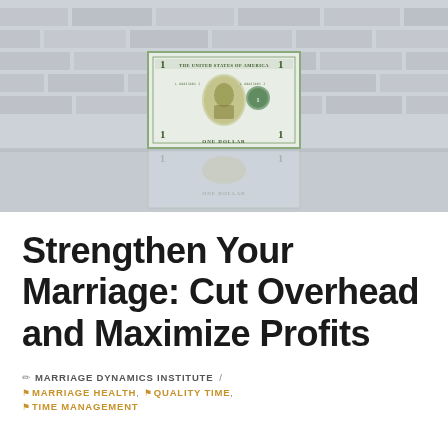[Figure (photo): A US one-dollar bill standing upright on a reflective surface against a white brick wall background, with a reflection visible below the bill.]
Strengthen Your Marriage: Cut Overhead and Maximize Profits
MARRIAGE DYNAMICS INSTITUTE / MARRIAGE HEALTH, QUALITY TIME, TIME MANAGEMENT